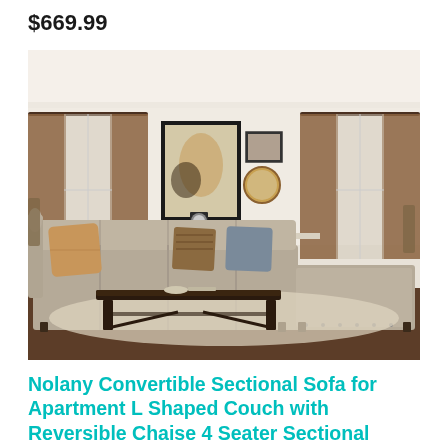$669.99
[Figure (photo): Product photo of a beige/taupe L-shaped sectional sofa with reversible chaise in a styled living room setting with brown curtains, artwork on wall, and dark wood coffee table on cream rug.]
Nolany Convertible Sectional Sofa for Apartment L Shaped Couch with Reversible Chaise 4 Seater Sectional